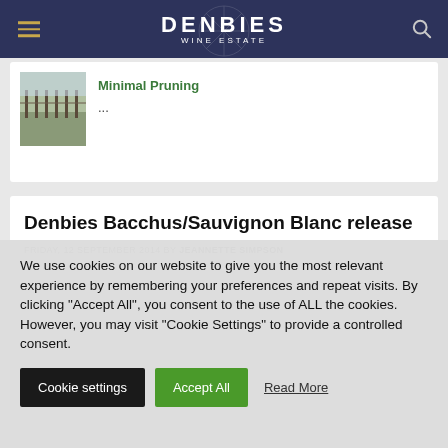DENBIES WINE ESTATE
Minimal Pruning
...
Denbies Bacchus/Sauvignon Blanc release
FRIDAY, 12 SEPTEMBER 2014 BY JEANNETTE SIMPSON
We use cookies on our website to give you the most relevant experience by remembering your preferences and repeat visits. By clicking “Accept All”, you consent to the use of ALL the cookies. However, you may visit "Cookie Settings" to provide a controlled consent.